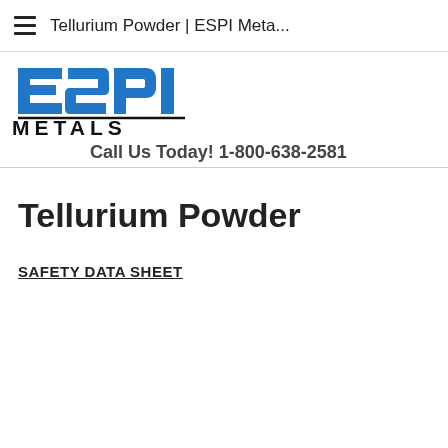Tellurium Powder | ESPI Meta...
[Figure (logo): ESPI Metals logo with blue stylized ESPI lettering and METALS text below, followed by call us phone number]
Tellurium Powder
SAFETY DATA SHEET